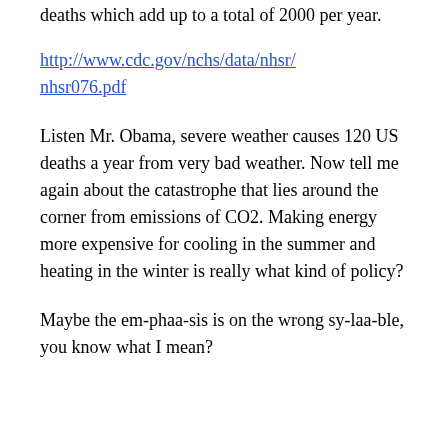deaths which add up to a total of 2000 per year.
http://www.cdc.gov/nchs/data/nhsr/nhsr076.pdf
Listen Mr. Obama, severe weather causes 120 US deaths a year from very bad weather. Now tell me again about the catastrophe that lies around the corner from emissions of CO2. Making energy more expensive for cooling in the summer and heating in the winter is really what kind of policy?
Maybe the em-phaa-sis is on the wrong sy-laa-ble, you know what I mean?